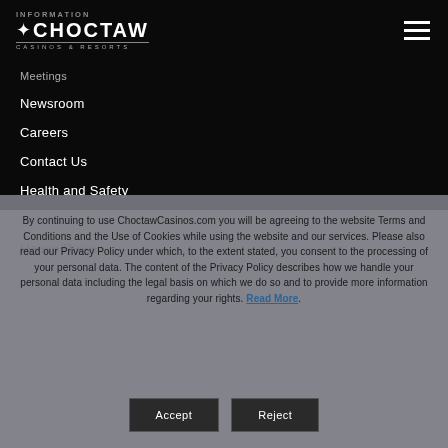[Figure (logo): Choctaw Casinos & Resorts logo with feather icon, white text on black background]
Meetings
Newsroom
Careers
Contact Us
Health and Safety
Sitemap
House Rules
By continuing to use ChoctawCasinos.com you will be agreeing to the website Terms and Conditions and the Use of Cookies while using the website and our services. Please also read our Privacy Policy under which, to the extent stated, you consent to the processing of your personal data. The content of the Privacy Policy describes how we handle your personal data including the legal basis on which we do so and to provide more information regarding your rights. Read More.
Accept
Reject